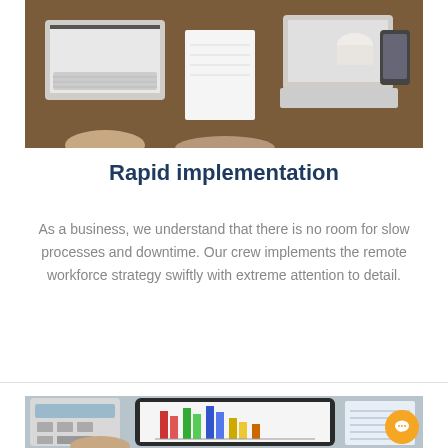[Figure (photo): Aerial view of people working at a desk with laptops, notebooks, coffee cups, and a tablet on a wooden table]
Rapid implementation
As a business, we understand that there is no room for slow processes and downtime. Our crew implements the remote workforce strategy swiftly with extreme attention to detail.
[Figure (photo): Person using a calculator next to a tablet displaying colorful bar charts and graphs, representing financial analysis]